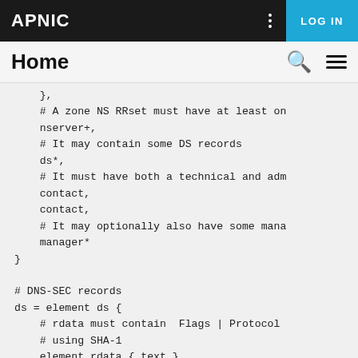APNIC | LOG IN
Home
[Figure (screenshot): APNIC website screenshot showing navigation bar with APNIC logo, dots menu, and LOG IN button, followed by Home page header with search and hamburger menu icons]
},
    # A zone NS RRset must have at least on
    nserver+,
    # It may contain some DS records
    ds*,
    # It must have both a technical and adm
    contact,
    contact,
    # It may optionally also have some mana
    manager*
}

# DNS-SEC records
ds = element ds {
    # rdata must contain  Flags | Protocol
    # using SHA-1
    element rdata { text }